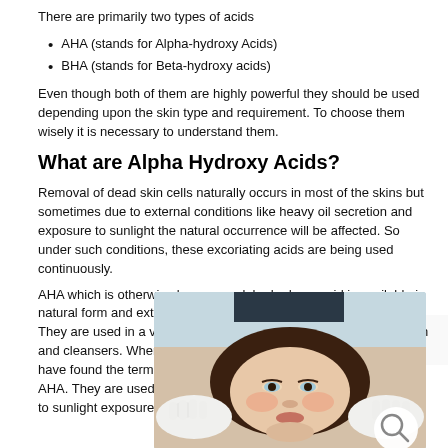There are primarily two types of acids
AHA (stands for Alpha-hydroxy Acids)
BHA (stands for Beta-hydroxy acids)
Even though both of them are highly powerful they should be used depending upon the skin type and requirement. To choose them wisely it is necessary to understand them.
What are Alpha Hydroxy Acids?
Removal of dead skin cells naturally occurs in most of the skins but sometimes due to external conditions like heavy oil secretion and exposure to sunlight the natural occurrence will be affected. So under such conditions, these excoriating acids are being used continuously.
AHA which is otherwise known as alpha hydroxy acid is available in natural form and extracted from a variety of fruits and sugarcane. They are used in a variety of skin care products including face wash and cleansers. When you purchase a skincare product you must have found the term called glycolic acid which is another form of AHA. They are used for treating skin surfaces that are affected due to sunlight exposure and lack of moisture.
[Figure (photo): A woman lying back receiving a facial skincare treatment, with gloved hands applying product to her face. Clinical/spa setting.]